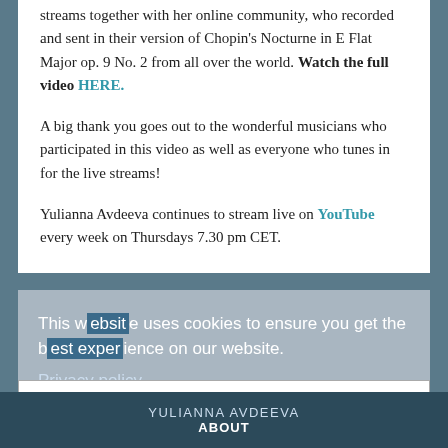streams together with her online community, who recorded and sent in their version of Chopin's Nocturne in E Flat Major op. 9 No. 2 from all over the world. Watch the full video HERE.
A big thank you goes out to the wonderful musicians who participated in this video as well as everyone who tunes in for the live streams!
Yulianna Avdeeva continues to stream live on YouTube every week on Thursdays 7.30 pm CET.
This website uses cookies to ensure you get the best experience on our website.
Privacy policy
OK
YULIANNA AVDEEVA
ABOUT